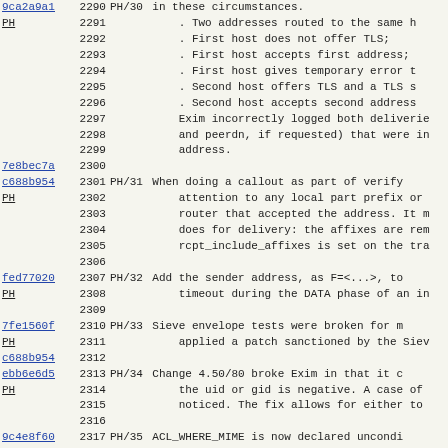Code change log entries with line numbers and descriptions
| hash | line | tag | text |
| --- | --- | --- | --- |
| 9ca2a9a1 | 2290 | PH/30 | in these circumstances. |
| PH | 2291 |  | . Two addresses routed to the same h |
|  | 2292 |  | . First host does not offer TLS; |
|  | 2293 |  | . First host accepts first address; |
|  | 2294 |  | . First host gives temporary error t |
|  | 2295 |  | . Second host offers TLS and a TLS s |
|  | 2296 |  | . Second host accepts second address |
|  | 2297 |  | Exim incorrectly logged both deliverie |
|  | 2298 |  | and peerdn, if requested) that were in |
|  | 2299 |  | address. |
| 7e8bec7a | 2300 |  |  |
| c688b954 | 2301 | PH/31 | When doing a callout as part of verify |
| PH | 2302 |  | attention to any local part prefix or |
|  | 2303 |  | router that accepted the address. It m |
|  | 2304 |  | does for delivery: the affixes are rem |
|  | 2305 |  | rcpt_include_affixes is set on the tra |
|  | 2306 |  |  |
| fed77020 | 2307 | PH/32 | Add the sender address, as F=<...>, to |
| PH | 2308 |  | timeout during the DATA phase of an in |
|  | 2309 |  |  |
| 7fe1560f | 2310 | PH/33 | Sieve envelope tests were broken for m |
| PH | 2311 |  | applied a patch sanctioned by the Siev |
| c688b954 | 2312 |  |  |
| ebb6e6d5 | 2313 | PH/34 | Change 4.50/80 broke Exim in that it c |
| PH | 2314 |  | the uid or gid is negative. A case of |
|  | 2315 |  | noticed. The fix allows for either to |
|  | 2316 |  |  |
| 9c4e8f60 | 2317 | PH/35 | ACL_WHERE_MIME is now declared uncondi |
| PH | 2318 |  | clutter, but the tables that are index |
|  | 2319 |  | overlooked. |
|  | 2320 |  |  |
|  | 2321 | PH/36 | The change PH/12 above was broken. Fix |
|  | 2322 |  |  |